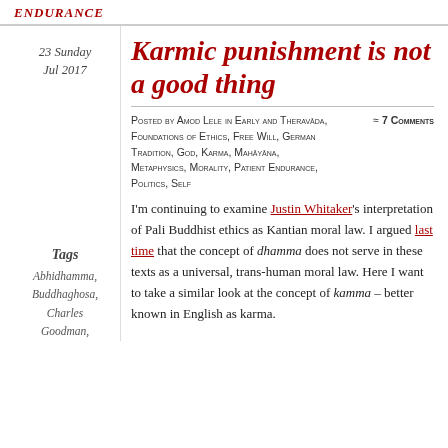ENDURANCE
23 Sunday Jul 2017
Karmic punishment is not a good thing
Posted by Amod Lele in Early and Theravāda, Foundations of Ethics, Free Will, German Tradition, God, Karma, Mahāyāna, Metaphysics, Morality, Patient Endurance, Politics, Self ≈ 7 Comments
Tags
Abhidhamma, Buddhaghosa, Charles Goodman,
I'm continuing to examine Justin Whitaker's interpretation of Pali Buddhist ethics as Kantian moral law. I argued last time that the concept of dhamma does not serve in these texts as a universal, trans-human moral law. Here I want to take a similar look at the concept of kamma – better known in English as karma.